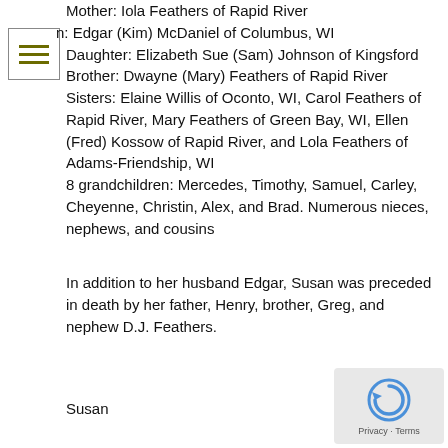Mother: Iola Feathers of Rapid River
Son: Edgar (Kim) McDaniel of Columbus, WI
Daughter: Elizabeth Sue (Sam) Johnson of Kingsford
Brother: Dwayne (Mary) Feathers of Rapid River
Sisters: Elaine Willis of Oconto, WI, Carol Feathers of Rapid River, Mary Feathers of Green Bay, WI, Ellen (Fred) Kossow of Rapid River, and Lola Feathers of Adams-Friendship, WI
8 grandchildren: Mercedes, Timothy, Samuel, Carley, Cheyenne, Christin, Alex, and Brad. Numerous nieces, nephews, and cousins
In addition to her husband Edgar, Susan was preceded in death by her father, Henry, brother, Greg, and nephew D.J. Feathers.
Susan